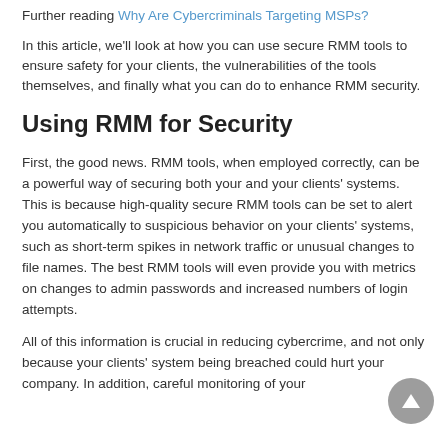Further reading Why Are Cybercriminals Targeting MSPs?
In this article, we'll look at how you can use secure RMM tools to ensure safety for your clients, the vulnerabilities of the tools themselves, and finally what you can do to enhance RMM security.
Using RMM for Security
First, the good news. RMM tools, when employed correctly, can be a powerful way of securing both your and your clients' systems. This is because high-quality secure RMM tools can be set to alert you automatically to suspicious behavior on your clients' systems, such as short-term spikes in network traffic or unusual changes to file names. The best RMM tools will even provide you with metrics on changes to admin passwords and increased numbers of login attempts.
All of this information is crucial in reducing cybercrime, and not only because your clients' system being breached could hurt your company. In addition, careful monitoring of your